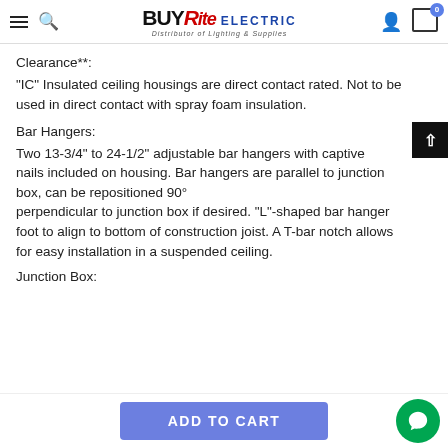BUYRite ELECTRIC — Distributor of Lighting & Supplies
Clearance**:
"IC" Insulated ceiling housings are direct contact rated. Not to be used in direct contact with spray foam insulation.
Bar Hangers:
Two 13-3/4" to 24-1/2" adjustable bar hangers with captive nails included on housing. Bar hangers are parallel to junction box, can be repositioned 90° perpendicular to junction box if desired. "L"-shaped bar hanger foot to align to bottom of construction joist. A T-bar notch allows for easy installation in a suspended ceiling.
Junction Box: